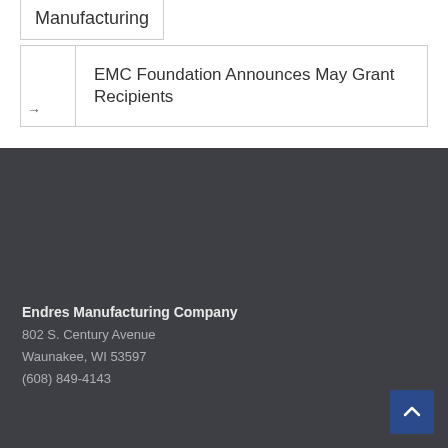Manufacturing
EMC Foundation Announces May Grant Recipients
→
Endres Manufacturing Company
802 S. Century Avenue
Waunakee, WI 53597
(608) 849-4143